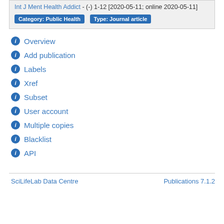Int J Ment Health Addict - (-) 1-12 [2020-05-11; online 2020-05-11]
Category: Public Health   Type: Journal article
Overview
Add publication
Labels
Xref
Subset
User account
Multiple copies
Blacklist
API
SciLifeLab Data Centre
Publications 7.1.2